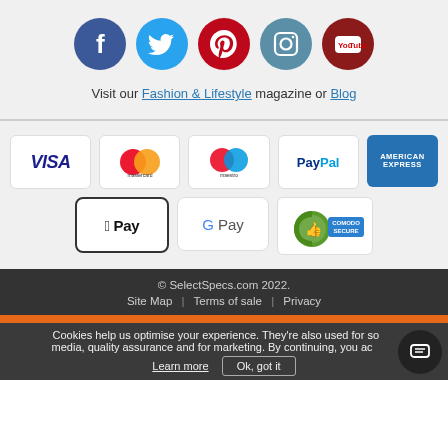[Figure (illustration): Row of five social media icons: Facebook (blue circle with f), Twitter (teal circle with bird), Pinterest (red circle with P), Instagram (teal circle with camera), YouTube (dark red circle with YouTube logo)]
Visit our Fashion & Lifestyle magazine or Blog
[Figure (illustration): Payment method logos: Visa, Mastercard, Maestro, PayPal, American Express in first row; Apple Pay, Google Pay, and Comodo Secure badge in second row]
© SelectSpecs.com 2022. Site Map | Terms of sale | Privacy
Cookies help us optimise your experience. They're also used for social media, quality assurance and for marketing. By continuing, you accept. Learn more  Ok, got it